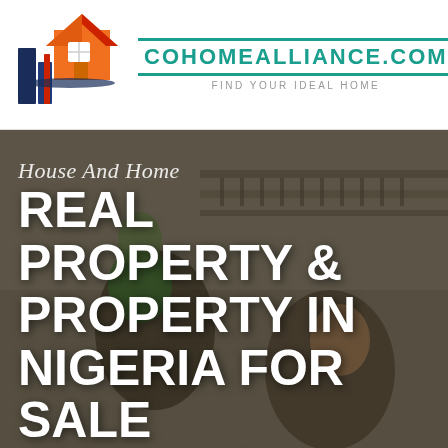[Figure (logo): CoHomeAlliance logo: stylized building/house icon with blue, red, and orange shapes]
COHOMEALLIANCE.COM
FIND YOUR IDEAL HOME
[Figure (photo): Hero photo: family outside a home, father with child on shoulders and mother smiling, overlaid with text 'House And Home' and 'REAL PROPERTY & PROPERTY IN NIGERIA FOR SALE AND RENT']
REAL PROPERTY & PROPERTY IN NIGERIA FOR SALE AND RENT